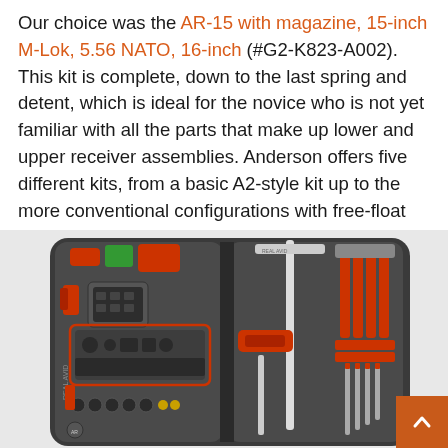Our choice was the AR-15 with magazine, 15-inch M-Lok, 5.56 NATO, 16-inch (#G2-K823-A002). This kit is complete, down to the last spring and detent, which is ideal for the novice who is not yet familiar with all the parts that make up lower and upper receiver assemblies. Anderson offers five different kits, from a basic A2-style kit up to the more conventional configurations with free-float barrels and M-LOK handguards.
[Figure (photo): An open AR-15 build kit case containing tools and components including red-handled tools, springs, detents, sockets, and other firearm assembly parts organized in a gray molded case.]